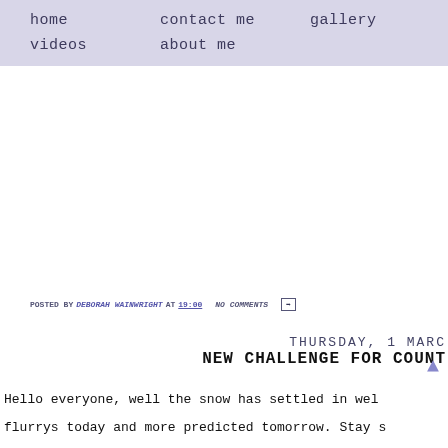home   contact me   gallery
videos   about me
POSTED BY DEBORAH WAINWRIGHT AT 19:00   NO COMMENTS
THURSDAY, 1 MARC
NEW CHALLENGE FOR COUNT
Hello everyone, well the snow has settled in wel
flurrys today and more predicted tomorrow. Stay s